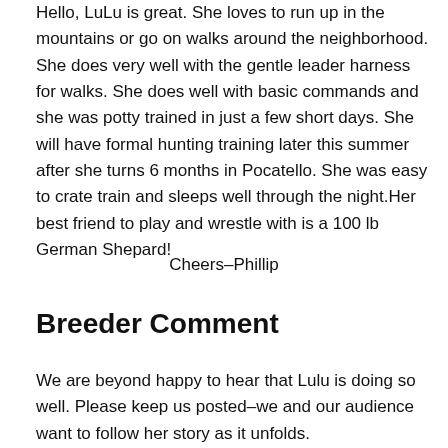Hello, LuLu is great. She loves to run up in the mountains or go on walks around the neighborhood. She does very well with the gentle leader harness for walks. She does well with basic commands and she was potty trained in just a few short days. She will have formal hunting training later this summer after she turns 6 months in Pocatello. She was easy to crate train and sleeps well through the night.Her best friend to play and wrestle with is a 100 lb German Shepard!
Cheers–Phillip
Breeder Comment
We are beyond happy to hear that Lulu is doing so well. Please keep us posted–we and our audience want to follow her story as it unfolds.